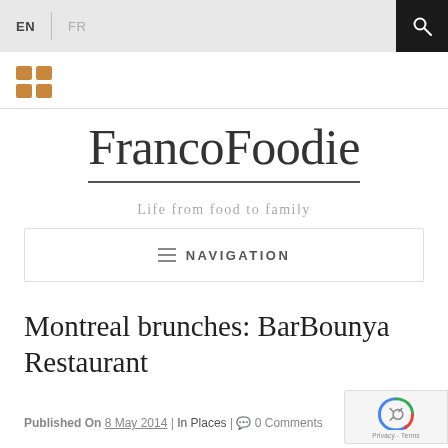EN | FR
[Figure (other): Orange/brown 2x2 grid icon (logo mark)]
FrancoFoodie
Life from food to family
NAVIGATION
Montreal brunches: BarBounya Restaurant
Published On 8 May 2014 | In Places | 0 Comments